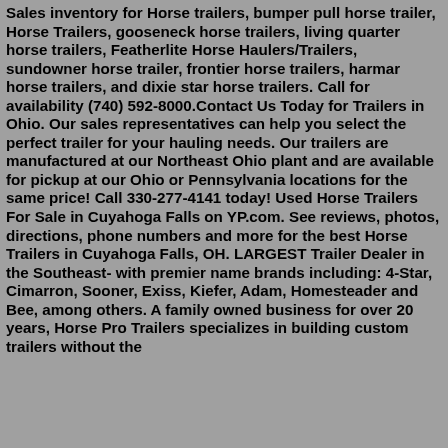Sales inventory for Horse trailers, bumper pull horse trailer, Horse Trailers, gooseneck horse trailers, living quarter horse trailers, Featherlite Horse Haulers/Trailers, sundowner horse trailer, frontier horse trailers, harmar horse trailers, and dixie star horse trailers. Call for availability (740) 592-8000.Contact Us Today for Trailers in Ohio. Our sales representatives can help you select the perfect trailer for your hauling needs. Our trailers are manufactured at our Northeast Ohio plant and are available for pickup at our Ohio or Pennsylvania locations for the same price! Call 330-277-4141 today! Used Horse Trailers For Sale in Cuyahoga Falls on YP.com. See reviews, photos, directions, phone numbers and more for the best Horse Trailers in Cuyahoga Falls, OH. LARGEST Trailer Dealer in the Southeast- with premier name brands including: 4-Star, Cimarron, Sooner, Exiss, Kiefer, Adam, Homesteader and Bee, among others. A family owned business for over 20 years, Horse Pro Trailers specializes in building custom trailers without the